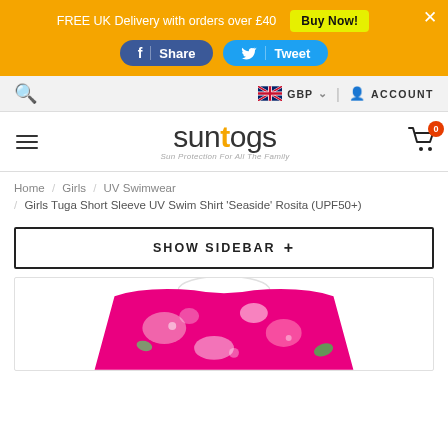FREE UK Delivery with orders over £40  Buy Now!
[Figure (screenshot): Facebook Share and Twitter Tweet social sharing buttons on orange banner]
Search  GBP  |  ACCOUNT
[Figure (logo): Suntogs logo - Sun Protection For All The Family]
Home / Girls / UV Swimwear / Girls Tuga Short Sleeve UV Swim Shirt 'Seaside' Rosita (UPF50+)
SHOW SIDEBAR +
[Figure (photo): Girls Tuga Short Sleeve UV Swim Shirt Seaside Rosita in pink floral pattern with white collar]